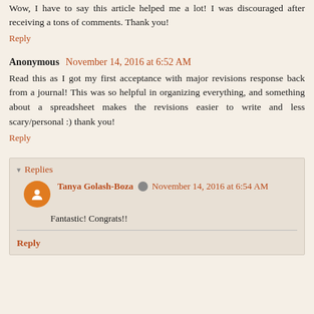Wow, I have to say this article helped me a lot! I was discouraged after receiving a tons of comments. Thank you!
Reply
Anonymous  November 14, 2016 at 6:52 AM
Read this as I got my first acceptance with major revisions response back from a journal! This was so helpful in organizing everything, and something about a spreadsheet makes the revisions easier to write and less scary/personal :) thank you!
Reply
Replies
Tanya Golash-Boza  November 14, 2016 at 6:54 AM
Fantastic! Congrats!!
Reply